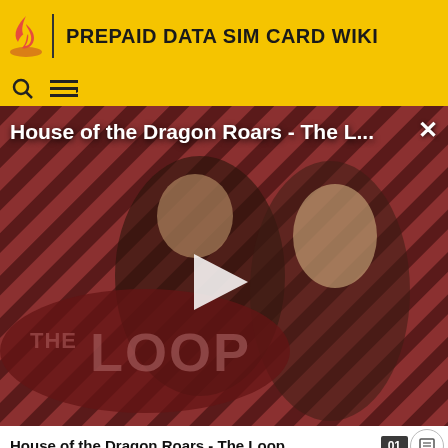PREPAID DATA SIM CARD WIKI
[Figure (screenshot): Video thumbnail showing House of the Dragon characters with THE LOOP overlay, play button, title overlay reading 'House of the Dragon Roars - The L...' and a close X button]
House of the Dragon Roars - The Loop
|  | Frequency | Frequency |  |
| --- | --- | --- | --- |
| 2G | 900 MHz | 900 MHz | n/a |
| 3G |  | 900 MHz |  |